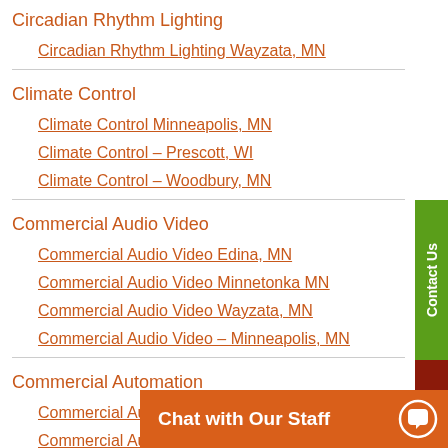Circadian Rhythm Lighting
Circadian Rhythm Lighting Wayzata, MN
Climate Control
Climate Control Minneapolis, MN
Climate Control – Prescott, WI
Climate Control – Woodbury, MN
Commercial Audio Video
Commercial Audio Video Edina, MN
Commercial Audio Video Minnetonka MN
Commercial Audio Video Wayzata, MN
Commercial Audio Video – Minneapolis, MN
Commercial Automation
Commercial Automation Minnetonka MN
Commercial Automation Wayzata, MN
Commercial Entry S…
Commercial Entr…
Chat with Our Staff